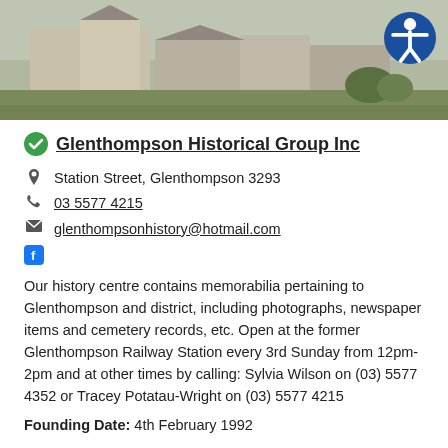[Figure (photo): Exterior photograph of a building with grass and grey sky, appears to be the former Glenthompson Railway Station.]
Glenthompson Historical Group Inc
Station Street, Glenthompson 3293
03 5577 4215
glenthompsonhistory@hotmail.com
[Facebook icon]
Our history centre contains memorabilia pertaining to Glenthompson and district, including photographs, newspaper items and cemetery records, etc. Open at the former Glenthompson Railway Station every 3rd Sunday from 12pm-2pm and at other times by calling: Sylvia Wilson on (03) 5577 4352 or Tracey Potatau-Wright on (03) 5577 4215
Founding Date: 4th February 1992
General Information: We will showcase people and places from Glenthompson since the town was established in the mid 1800's. People are welcome to contribute photos and